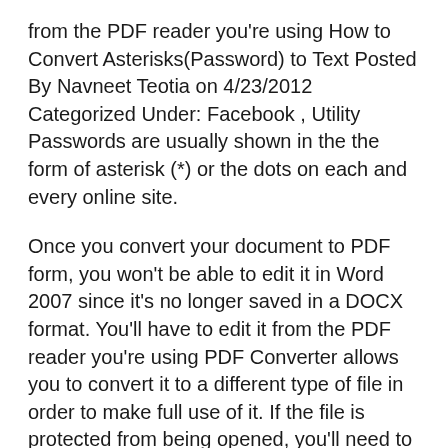from the PDF reader you're using How to Convert Asterisks(Password) to Text Posted By Navneet Teotia on 4/23/2012 Categorized Under: Facebook , Utility Passwords are usually shown in the the form of asterisk (*) or the dots on each and every online site.
Once you convert your document to PDF form, you won't be able to edit it in Word 2007 since it's no longer saved in a DOCX format. You'll have to edit it from the PDF reader you're using PDF Converter allows you to convert it to a different type of file in order to make full use of it. If the file is protected from being opened, you'll need to enter that password